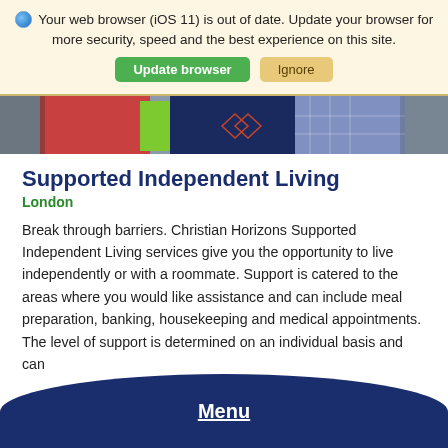🌐 Your web browser (iOS 11) is out of date. Update your browser for more security, speed and the best experience on this site.
Update browser | Ignore
[Figure (photo): A photo strip showing people wearing colourful winter jackets (red, blue, green, plaid), cropped to show torsos only.]
Supported Independent Living
London
Break through barriers. Christian Horizons Supported Independent Living services give you the opportunity to live independently or with a roommate. Support is catered to the areas where you would like assistance and can include meal preparation, banking, housekeeping and medical appointments. The level of support is determined on an individual basis and can
Menu